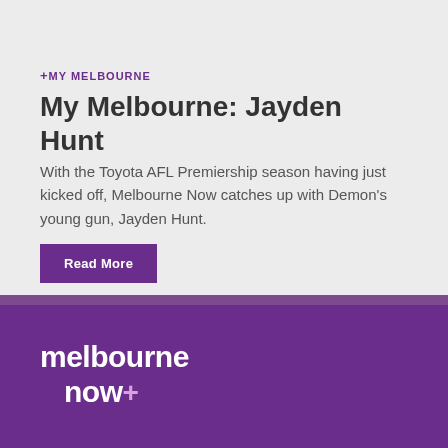+MY MELBOURNE
My Melbourne: Jayden Hunt
With the Toyota AFL Premiership season having just kicked off, Melbourne Now catches up with Demon's young gun, Jayden Hunt.
Read More
[Figure (logo): Melbourne Now+ logo in white on purple background]